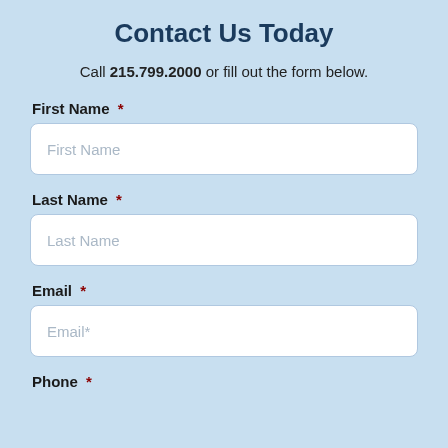Contact Us Today
Call 215.799.2000 or fill out the form below.
First Name *
First Name (placeholder)
Last Name *
Last Name (placeholder)
Email *
Email* (placeholder)
Phone *